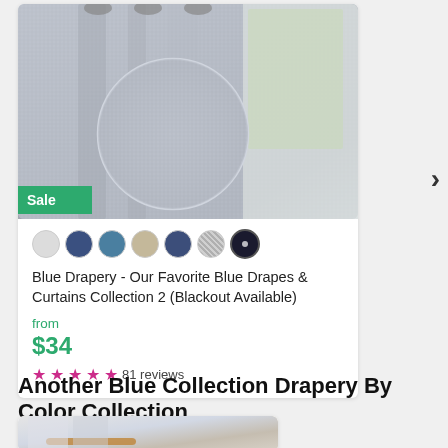[Figure (photo): Product photo of blue/grey curtains with fabric texture detail circle inset, Sale badge in green at bottom left]
[Figure (other): Row of color swatches: light grey, navy, blue, tan, dark blue, grey texture, dark circle]
Blue Drapery - Our Favorite Blue Drapes & Curtains Collection 2 (Blackout Available)
from
$34
★★★★★ 81 reviews
Another Blue Collection Drapery By Color Collection
[Figure (photo): Partial view of curtain product card showing light curtains with wooden rod]